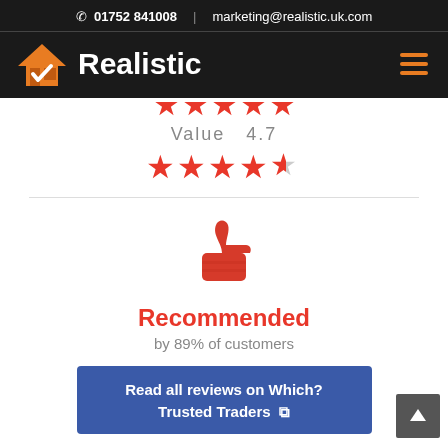📞 01752 841008  |  marketing@realistic.uk.com
[Figure (logo): Realistic logo with orange house/checkmark icon and white bold text 'Realistic' on dark background, with orange hamburger menu icon on right]
Value  4.7
[Figure (infographic): 5 red/orange stars rating display, partially cropped at top and full row below for Value 4.7]
[Figure (illustration): Red thumbs up icon]
Recommended
by 89% of customers
Read all reviews on Which? Trusted Traders